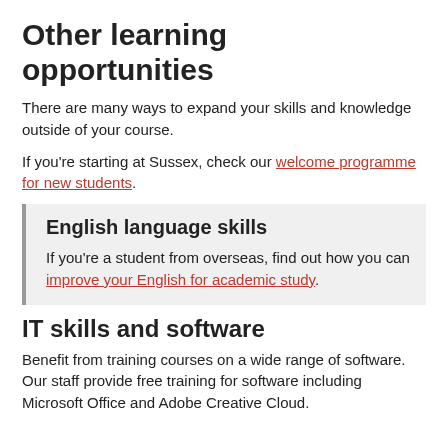Other learning opportunities
There are many ways to expand your skills and knowledge outside of your course.
If you're starting at Sussex, check our welcome programme for new students.
English language skills
If you're a student from overseas, find out how you can improve your English for academic study.
IT skills and software
Benefit from training courses on a wide range of software. Our staff provide free training for software including Microsoft Office and Adobe Creative Cloud.